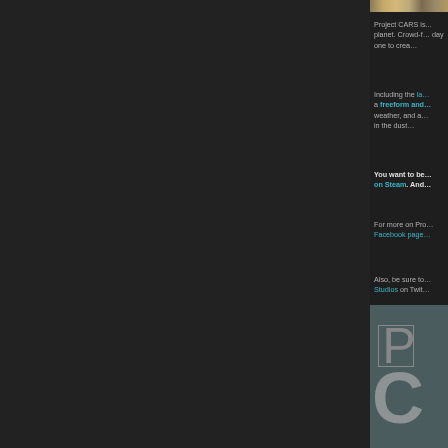[Figure (photo): Decorative metallic banner strip at top right]
Project CARS is... planet. Crowd-f... day one to crea...
Including the la... a freeform and... weather, and a... in the dust…
You want to be... on Steam. And...
For more on Pro... Facebook page...
Also, be sure to... Studios on Twit...
[Figure (logo): Project CARS logo with large P and C letters on grey-teal background]